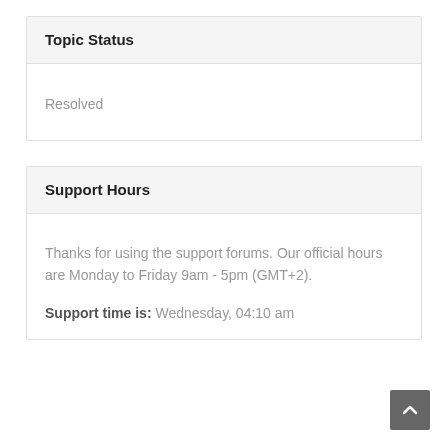Topic Status
Resolved
Support Hours
Thanks for using the support forums. Our official hours are Monday to Friday 9am - 5pm (GMT+2).
Support time is: Wednesday, 04:10 am